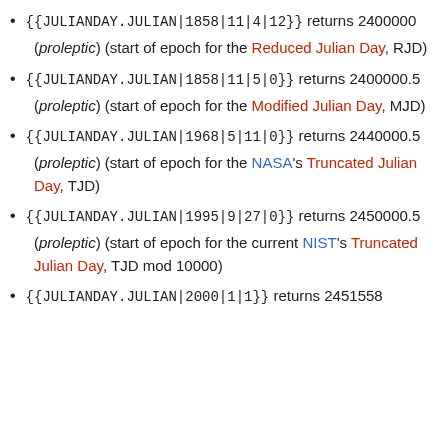{{JULIANDAY.JULIAN|1858|11|4|12}} returns 2400000 (proleptic) (start of epoch for the Reduced Julian Day, RJD)
{{JULIANDAY.JULIAN|1858|11|5|0}} returns 2400000.5 (proleptic) (start of epoch for the Modified Julian Day, MJD)
{{JULIANDAY.JULIAN|1968|5|11|0}} returns 2440000.5 (proleptic) (start of epoch for the NASA's Truncated Julian Day, TJD)
{{JULIANDAY.JULIAN|1995|9|27|0}} returns 2450000.5 (proleptic) (start of epoch for the current NIST's Truncated Julian Day, TJD mod 10000)
{{JULIANDAY.JULIAN|2000|1|1}} returns 2451558